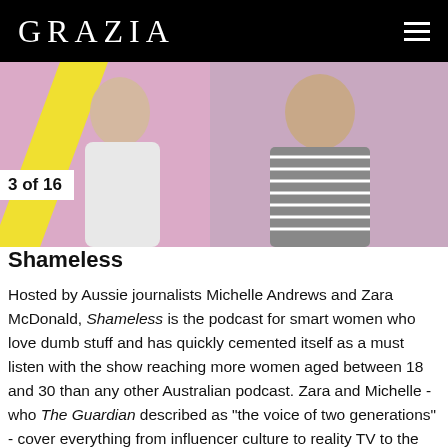GRAZIA
[Figure (photo): Photo of two people against a pink background with a yellow diagonal stripe]
3 of 16
Shameless
Hosted by Aussie journalists Michelle Andrews and Zara McDonald, Shameless is the podcast for smart women who love dumb stuff and has quickly cemented itself as a must listen with the show reaching more women aged between 18 and 30 than any other Australian podcast. Zara and Michelle - who The Guardian described as "the voice of two generations" - cover everything from influencer culture to reality TV to the biggest